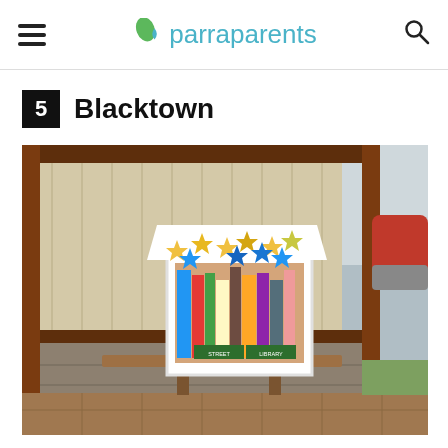parraparents
5  Blacktown
[Figure (photo): A street library box mounted on a wooden post in front of a corrugated metal fence. The box is white-framed with a decorated slanted roof covered in painted yellow and blue stars. The box is filled with books and has a 'Street Library' sign on it. A red car is partially visible to the right. The ground is paved with brown tiles.]